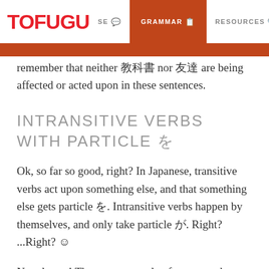TOFUGU  USE  GRAMMAR  RESOURCES
remember that neither 教科書 nor 友達 are being affected or acted upon in these sentences.
INTRANSITIVE VERBS WITH PARTICLE を
Ok, so far so good, right? In Japanese, transitive verbs act upon something else, and that something else gets particle を. Intransitive verbs happen by themselves, and only take particle が. Right? ...Right? 😊
Not always! There are a couple of reasons why an intransitive verb might actually appear with particle